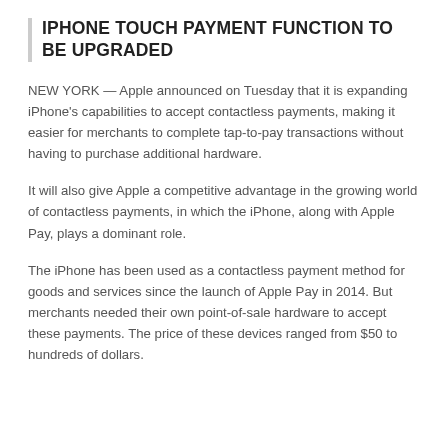IPHONE TOUCH PAYMENT FUNCTION TO BE UPGRADED
NEW YORK — Apple announced on Tuesday that it is expanding iPhone’s capabilities to accept contactless payments, making it easier for merchants to complete tap-to-pay transactions without having to purchase additional hardware.
It will also give Apple a competitive advantage in the growing world of contactless payments, in which the iPhone, along with Apple Pay, plays a dominant role.
The iPhone has been used as a contactless payment method for goods and services since the launch of Apple Pay in 2014. But merchants needed their own point-of-sale hardware to accept these payments. The price of these devices ranged from $50 to hundreds of dollars.